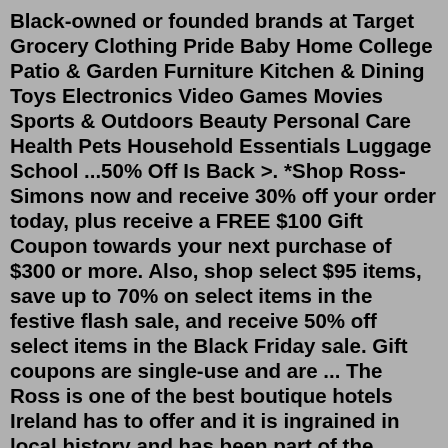Black-owned or founded brands at Target Grocery Clothing Pride Baby Home College Patio & Garden Furniture Kitchen & Dining Toys Electronics Video Games Movies Sports & Outdoors Beauty Personal Care Health Pets Household Essentials Luggage School ...50% Off Is Back >. *Shop Ross-Simons now and receive 30% off your order today, plus receive a FREE $100 Gift Coupon towards your next purchase of $300 or more. Also, shop select $95 items, save up to 70% on select items in the festive flash sale, and receive 50% off select items in the Black Friday sale. Gift coupons are single-use and are ... The Ross is one of the best boutique hotels Ireland has to offer and it is ingrained in local history and has been part of the Treacy family since 1938. One of the most modern, luxurious and yet historic hotels, offering fantastic Killarney hotel deals all year round, The Ross is home to twenty-nine stylish, cool and comfortable bedrooms ...Reduced price. Options. $36.99. $55.00. Under Armour Hustle 4.0 Unisex Adult Backpack Academy Blue Silver. 38. Save with. 2+ day shipping.